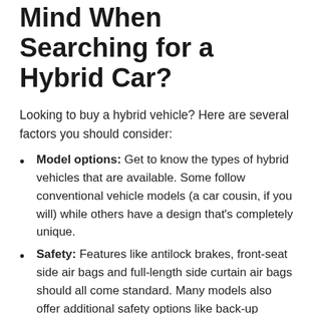Mind When Searching for a Hybrid Car?
Looking to buy a hybrid vehicle? Here are several factors you should consider:
Model options: Get to know the types of hybrid vehicles that are available. Some follow conventional vehicle models (a car cousin, if you will) while others have a design that's completely unique.
Safety: Features like antilock brakes, front-seat side air bags and full-length side curtain air bags should all come standard. Many models also offer additional safety options like back-up cameras and blind-spot indicators. The National Highway Traffic Safety Administration (NHTSA) and the IIHS are great...